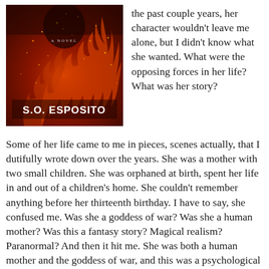[Figure (illustration): Book cover image with dark red/orange fiery background showing sparks and flames. Text reads 'A NOVEL' near top center and 'S.O. ESPOSITO' in large white letters at bottom center.]
the past couple years, her character wouldn't leave me alone, but I didn't know what she wanted. What were the opposing forces in her life? What was her story?
Some of her life came to me in pieces, scenes actually, that I dutifully wrote down over the years. She was a mother with two small children. She was orphaned at birth, spent her life in and out of a children's home. She couldn't remember anything before her thirteenth birthday. I have to say, she confused me. Was she a goddess of war? Was she a human mother? Was this a fantasy story? Magical realism? Paranormal? And then it hit me. She was both a human mother and the goddess of war, and this was a psychological suspense. They don't call it multiple personalities anymore, now it's called dissociative identity disorder, and this is what